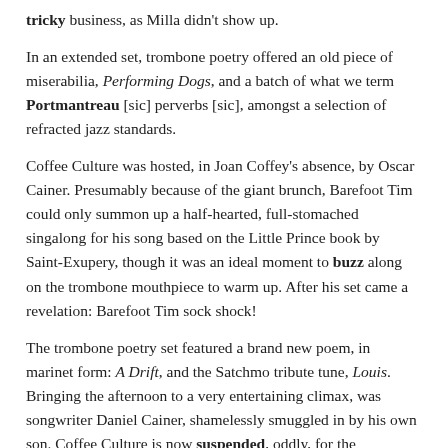tricky business, as Milla didn't show up.
In an extended set, trombone poetry offered an old piece of miserabilia, Performing Dogs, and a batch of what we term Portmantreau [sic] perverbs [sic], amongst a selection of refracted jazz standards.
Coffee Culture was hosted, in Joan Coffey's absence, by Oscar Cainer. Presumably because of the giant brunch, Barefoot Tim could only summon up a half-hearted, full-stomached singalong for his song based on the Little Prince book by Saint-Exupery, though it was an ideal moment to buzz along on the trombone mouthpiece to warm up. After his set came a revelation: Barefoot Tim sock shock!
The trombone poetry set featured a brand new poem, in marinet form: A Drift, and the Satchmo tribute tune, Louis. Bringing the afternoon to a very entertaining climax, was songwriter Daniel Cainer, shamelessly smuggled in by his own son. Coffee Culture is now suspended, oddly, for the